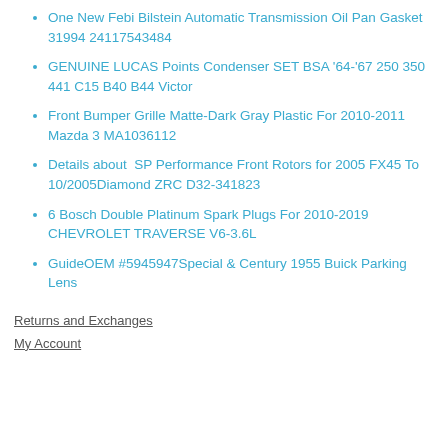One New Febi Bilstein Automatic Transmission Oil Pan Gasket 31994 24117543484
GENUINE LUCAS Points Condenser SET BSA '64-'67 250 350 441 C15 B40 B44 Victor
Front Bumper Grille Matte-Dark Gray Plastic For 2010-2011 Mazda 3 MA1036112
Details about  SP Performance Front Rotors for 2005 FX45 To 10/2005Diamond ZRC D32-341823
6 Bosch Double Platinum Spark Plugs For 2010-2019 CHEVROLET TRAVERSE V6-3.6L
GuideOEM #5945947Special & Century 1955 Buick Parking Lens
Returns and Exchanges
My Account